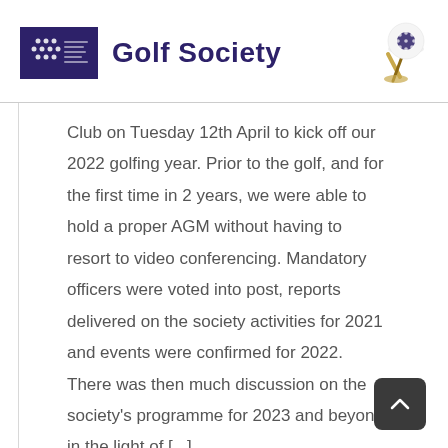Golf Society
Club on Tuesday 12th April to kick off our 2022 golfing year. Prior to the golf, and for the first time in 2 years, we were able to hold a proper AGM without having to resort to video conferencing. Mandatory officers were voted into post, reports delivered on the society activities for 2021 and events were confirmed for 2022. There was then much discussion on the society's programme for 2023 and beyond in the light of [...]